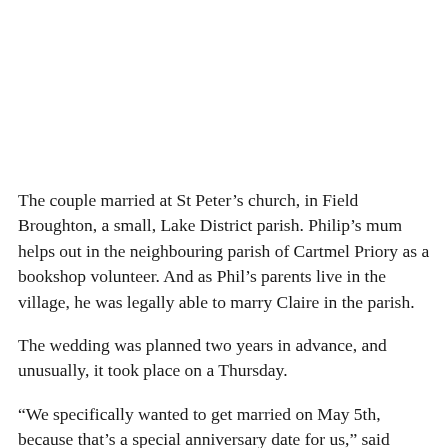The couple married at St Peter’s church, in Field Broughton, a small, Lake District parish. Philip’s mum helps out in the neighbouring parish of Cartmel Priory as a bookshop volunteer. And as Phil’s parents live in the village, he was legally able to marry Claire in the parish.
The wedding was planned two years in advance, and unusually, it took place on a Thursday.
“We specifically wanted to get married on May 5th, because that’s a special anniversary date for us,” said Claire, who works as a carer in Kendal, Cumbria.
“Over the two years of planning, Nick took a lot of time and effort to get to know us properly. We were really nervous, but Nick was